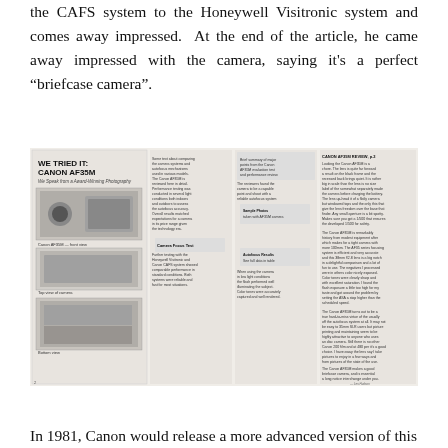the CAFS system to the Honeywell Visitronic system and comes away impressed. At the end of the article, he came away impressed with the camera, saying it's a perfect "briefcase camera".
[Figure (photo): Scan of a magazine article titled 'WE TRIED IT: CANON AF35M' with multiple columns of text and photos of the Canon AF35M camera from different angles.]
In 1981, Canon would release a more advanced version of this